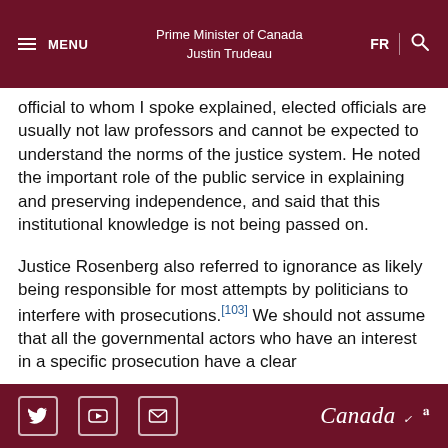Prime Minister of Canada Justin Trudeau
official to whom I spoke explained, elected officials are usually not law professors and cannot be expected to understand the norms of the justice system. He noted the important role of the public service in explaining and preserving independence, and said that this institutional knowledge is not being passed on.
Justice Rosenberg also referred to ignorance as likely being responsible for most attempts by politicians to interfere with prosecutions.[103] We should not assume that all the governmental actors who have an interest in a specific prosecution have a clear
Canada